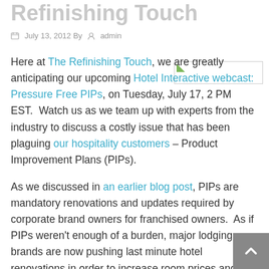Refinishing Touch
July 13, 2012 By admin
Here at The Refinishing Touch, we are greatly anticipating our upcoming Hotel Interactive webcast: Pressure Free PIPs, on Tuesday, July 17, 2 PM EST. Watch us as we team up with experts from the industry to discuss a costly issue that has been plaguing our hospitality customers – Product Improvement Plans (PIPs).
[Figure (photo): Small image thumbnail placeholder in upper right corner of article]
As we discussed in an earlier blog post, PIPs are mandatory renovations and updates required by corporate brand owners for franchised owners. As if PIPs weren't enough of a burden, major lodging brands are now pushing last minute hotel renovations in order to increase room prices and profit from this summer's increase of travelers and tourists.